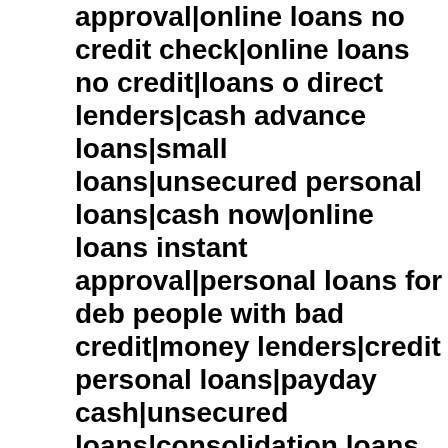approval|online loans no credit check|online loans no credit|loans o direct lenders|cash advance loans|small loans|unsecured personal loans|cash now|online loans instant approval|personal loans for deb people with bad credit|money lenders|credit personal loans|payday cash|unsecured loans|consolidation loans for bad credit|bad credit p loans for bad credit|debt consolidation loan|get a loan|payday lende lenders|cash payday loans|fast loans|advance payday|no credit che advance online|best debt consolidation loans|fast payday|online pa credit|paydayloans|direct loan|bad credit loan|online loan|same day payday loans instant approval|need a loan|advance loan|installmen consolidation loans for bad credit|personal loans bad credit|fast loa credit|loans for women|loan lenders|instant payday|personal lending loans|payday cash advance|need money now|payday loans no crec payday|loan no credit|loan bad credit|same day payday loans no cr credit|a payday loan|online payday loans instant approval|payday lo online|personal loans for people with bad credit|no fax payday loan money|easy payday|pay day loan|quick cash loans|direct lending|e bad credit|advance payday loan|fast cash loans|easy loans|loan mc loan|secured loans|payday loan lenders|low interest personal loans loan|loans with low interest|cash loans online|loans with low interes online|online installment loans|bad credit installment loans|install